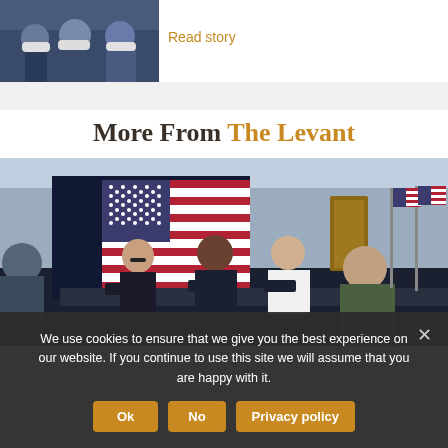[Figure (photo): Photo of people wearing masks at a press conference or public event, partially visible at top of page]
Read story
More From The Levant
[Figure (photo): Meeting room photo showing officials seated at a conference table with a large US flag displayed on a screen behind them, and two US flags on stands to the right]
We use cookies to ensure that we give you the best experience on our website. If you continue to use this site we will assume that you are happy with it.